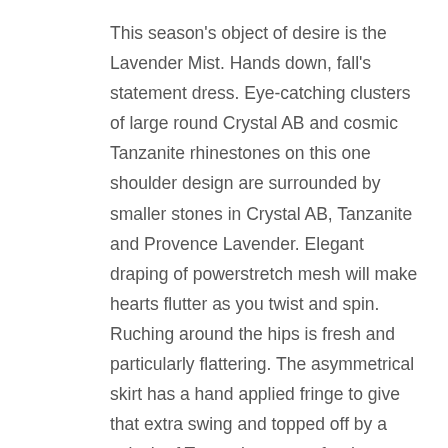This season's object of desire is the Lavender Mist. Hands down, fall's statement dress. Eye-catching clusters of large round Crystal AB and cosmic Tanzanite rhinestones on this one shoulder design are surrounded by smaller stones in Crystal AB, Tanzanite and Provence Lavender. Elegant draping of powerstretch mesh will make hearts flutter as you twist and spin. Ruching around the hips is fresh and particularly flattering. The asymmetrical skirt has a hand applied fringe to give that extra swing and topped off by a splash of Tanzanite stones for the sparkle factor. The irresistible texture on this dress makes it a showstopper.